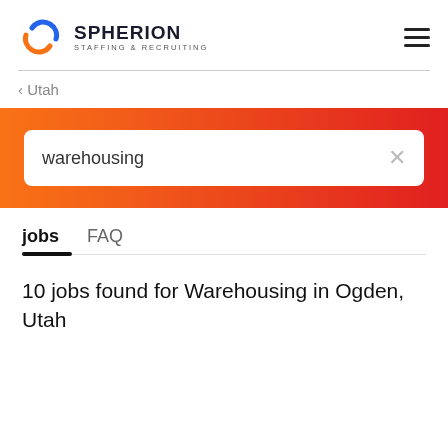[Figure (logo): Spherion Staffing & Recruiting logo with blue and orange intertwined S icon and dark bold text]
‹ Utah
warehousing (search box with X)
jobs  FAQ
10 jobs found for Warehousing in Ogden, Utah